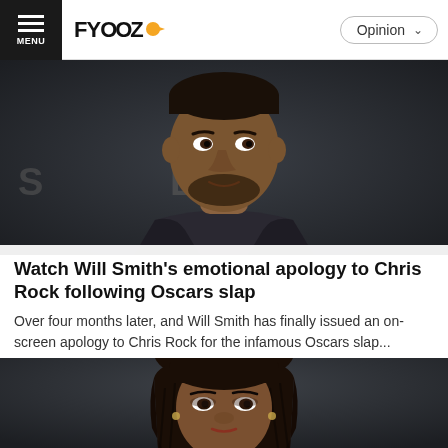FYOOZ — Opinion
[Figure (photo): Will Smith at an event, wearing a dark suit with lavender shirt, partial DODGE signage visible in background]
Watch Will Smith's emotional apology to Chris Rock following Oscars slap
Over four months later, and Will Smith has finally issued an on-screen apology to Chris Rock for the infamous Oscars slap...
[Figure (photo): Woman with braided hair at an event, partial signage visible in background]